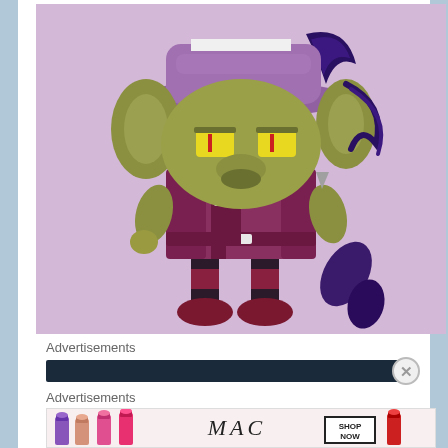[Figure (illustration): Cartoon villain character with green skin, yellow eyes, wearing a purple hat with dark feather, purple/maroon suit jacket, black and maroon striped pants, standing on purple/lavender background. Character has large ears, sharp white teeth visible at top of head, and a dark purple tail.]
Advertisements
[Figure (other): Dark navy/black advertisement banner bar]
Advertisements
[Figure (other): MAC cosmetics advertisement showing lipsticks (purple, pink, hot pink, red) on left side, MAC logo in italic text in center, and 'SHOP NOW' box on right side]